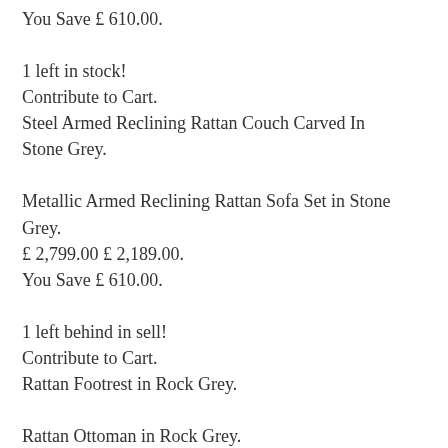You Save £ 610.00.
1 left in stock!
Contribute to Cart.
Steel Armed Reclining Rattan Couch Carved In Stone Grey.
Metallic Armed Reclining Rattan Sofa Set in Stone Grey.
£ 2,799.00 £ 2,189.00.
You Save £ 610.00.
1 left behind in sell!
Contribute to Cart.
Rattan Footrest in Rock Grey.
Rattan Ottoman in Rock Grey.
£ 149.00